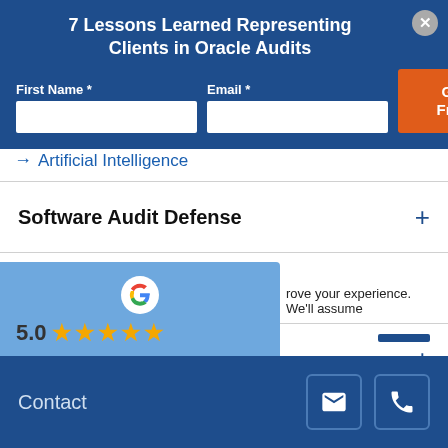7 Lessons Learned Representing Clients in Oracle Audits
First Name * Email * Get The Free PDF
→ Artificial Intelligence
Software Audit Defense
Security & Privacy
IT Services
[Figure (logo): Google logo with 5-star rating overlay]
rove your experience. We'll assume
Contact